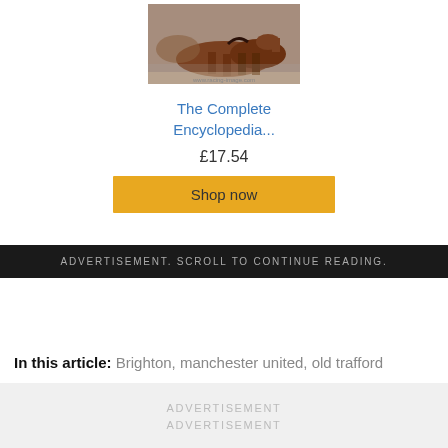[Figure (photo): Partial photo of horses racing, brown/chestnut horse visible]
The Complete Encyclopedia...
£17.54
Shop now
ADVERTISEMENT. SCROLL TO CONTINUE READING.
In this article: Brighton, manchester united, old trafford
ADVERTISEMENT
ADVERTISEMENT
LATEST